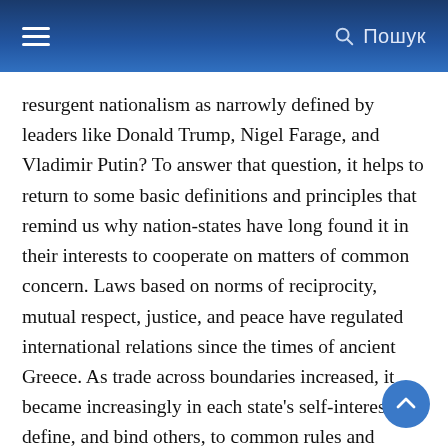Пошук
resurgent nationalism as narrowly defined by leaders like Donald Trump, Nigel Farage, and Vladimir Putin? To answer that question, it helps to return to some basic definitions and principles that remind us why nation-states have long found it in their interests to cooperate on matters of common concern. Laws based on norms of reciprocity, mutual respect, justice, and peace have regulated international relations since the times of ancient Greece. As trade across boundaries increased, it became increasingly in each state's self-interest to define, and bind others, to common rules and customs, which extended to the oceans and seas as well.
Now, with over 560 major multilateral instruments